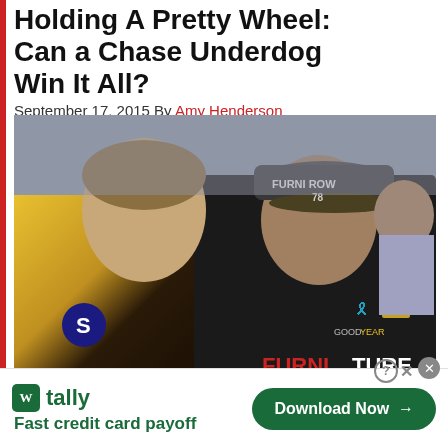Holding A Pretty Wheel: Can a Chase Underdog Win It All?
September 17, 2015 By Amy Henderson
[Figure (photo): Two NASCAR drivers in racing gear standing together. The driver on the left wears a yellow and black suit with the number 5, the driver on the right wears a black Furniture Row Racing suit with a cap labeled 'FURNI ROW 78'. Stadium crowd visible in background.]
tally Fast credit card payoff
Download Now →